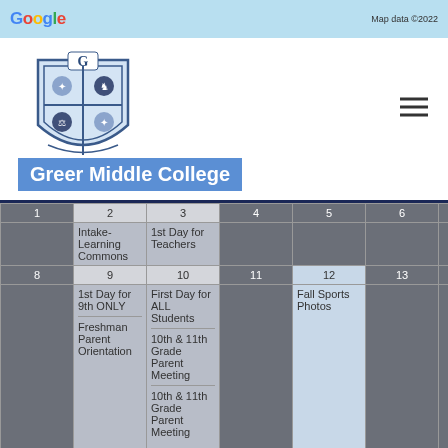[Figure (screenshot): Google Maps partial view with map data copyright 2022]
[Figure (logo): Greer Middle College shield/crest logo with letter G on top]
Greer Middle College
| 1 | 2 | 3 | 4 | 5 | 6 | 7 |
| --- | --- | --- | --- | --- | --- | --- |
|  | Intake-Learning Commons | 1st Day for Teachers |  |  |  |  |
| 8 | 9 | 10 | 11 | 12 | 13 | 14 |
|  | 1st Day for 9th ONLY
Freshman Parent Orientation | First Day for ALL Students
10th & 11th Grade Parent Meeting
10th & 11th Grade Parent Meeting |  | Fall Sports Photos |  |  |